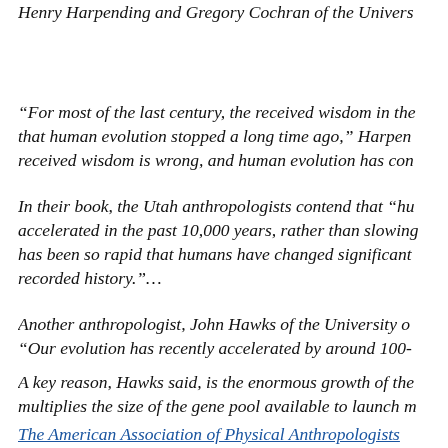Henry Harpending and Gregory Cochran of the Univers
“For most of the last century, the received wisdom in the that human evolution stopped a long time ago,” Harpen received wisdom is wrong, and human evolution has con
In their book, the Utah anthropologists contend that “hu accelerated in the past 10,000 years, rather than slowing has been so rapid that humans have changed significant recorded history.”…
Another anthropologist, John Hawks of the University o “Our evolution has recently accelerated by around 100-
A key reason, Hawks said, is the enormous growth of the multiplies the size of the gene pool available to launch m
The American Association of Physical Anthropologists